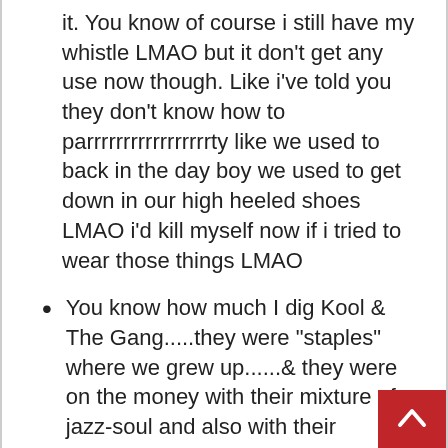it. You know of course i still have my whistle LMAO but it don't get any use now though. Like i've told you they don't know how to parrrrrrrrrrrrrrrrrty like we used to back in the day boy we used to get down in our high heeled shoes LMAO i'd kill myself now if i tried to wear those things LMAO
You know how much I dig Kool & The Gang.....they were "staples" where we grew up......& they were on the money with their mixture of jazz-soul and also with their afrocentric politics (at that time).
I guess they must have only been popular New York ???